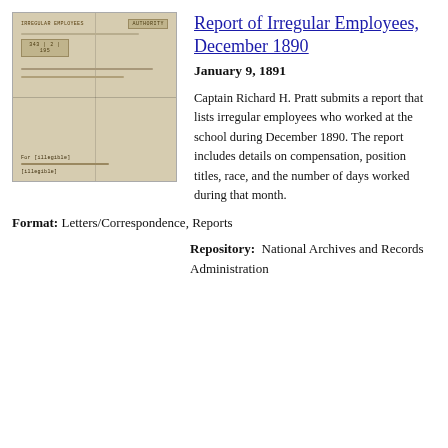[Figure (photo): Photograph of a folded historical document/report with handwritten text and stamps, appearing aged and yellowed, labeled 'IRREGULAR EMPLOYEES' and 'AUTHORITY']
Report of Irregular Employees, December 1890
January 9, 1891
Captain Richard H. Pratt submits a report that lists irregular employees who worked at the school during December 1890. The report includes details on compensation, position titles, race, and the number of days worked during that month.
Format: Letters/Correspondence, Reports
Repository: National Archives and Records Administration